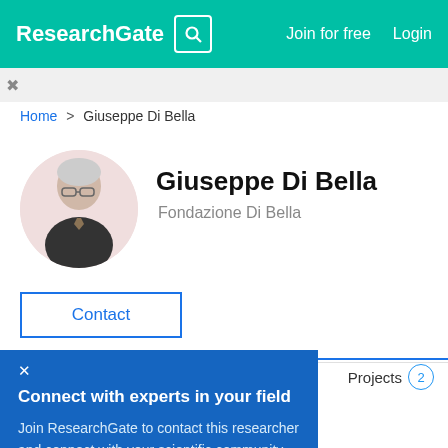ResearchGate  Join for free  Login
Home > Giuseppe Di Bella
[Figure (photo): Circular profile photo of Giuseppe Di Bella, an elderly man with white hair and glasses wearing a dark suit]
Giuseppe Di Bella
Fondazione Di Bella
Contact
Projects 2
Connect with experts in your field

Join ResearchGate to contact this researcher and connect with your scientific community.